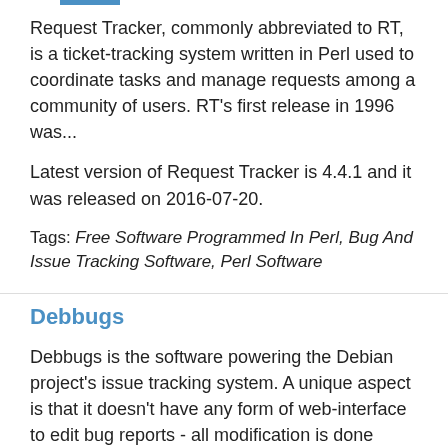Request Tracker, commonly abbreviated to RT, is a ticket-tracking system written in Perl used to coordinate tasks and manage requests among a community of users. RT's first release in 1996 was...
Latest version of Request Tracker is 4.4.1 and it was released on 2016-07-20.
Tags: Free Software Programmed In Perl, Bug And Issue Tracking Software, Perl Software
Debbugs
Debbugs is the software powering the Debian project's issue tracking system. A unique aspect is that it doesn't have any form of web-interface to edit bug reports - all modification is done through...
Latest version of Debbugs is 2.4.1 and it was released on 2003-06-06.